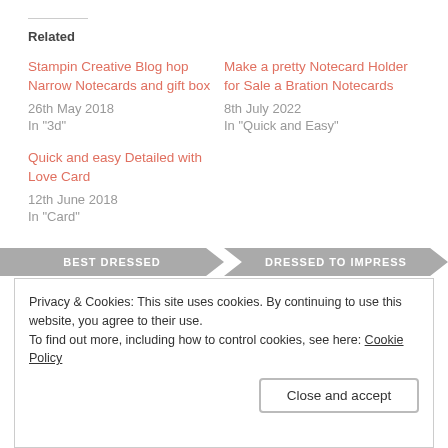Related
Stampin Creative Blog hop Narrow Notecards and gift box
26th May 2018
In "3d"
Make a pretty Notecard Holder for Sale a Bration Notecards
8th July 2022
In "Quick and Easy"
Quick and easy Detailed with Love Card
12th June 2018
In "Card"
[Figure (screenshot): Navigation tabs at the bottom: BEST DRESSED and DRESSED TO IMPRESS]
Privacy & Cookies: This site uses cookies. By continuing to use this website, you agree to their use.
To find out more, including how to control cookies, see here: Cookie Policy
Close and accept